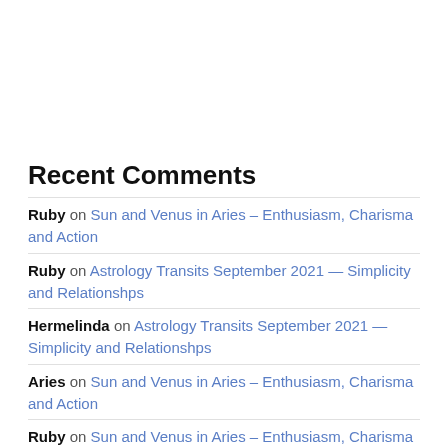Recent Comments
Ruby on Sun and Venus in Aries – Enthusiasm, Charisma and Action
Ruby on Astrology Transits September 2021 — Simplicity and Relationshps
Hermelinda on Astrology Transits September 2021 — Simplicity and Relationshps
Aries on Sun and Venus in Aries – Enthusiasm, Charisma and Action
Ruby on Sun and Venus in Aries – Enthusiasm, Charisma